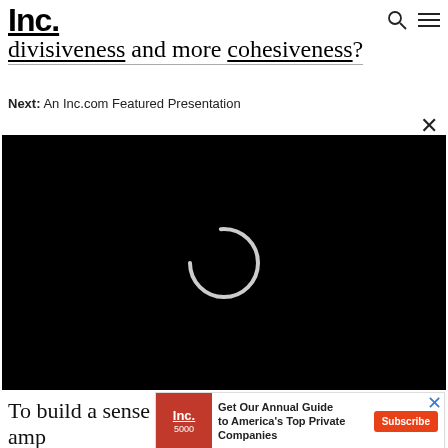Inc.
divisiveness and more cohesiveness?
Next: An Inc.com Featured Presentation
[Figure (screenshot): Black video player with a circular loading spinner in the center, showing a buffering/loading state.]
To build a sense of camaraderie, many simply amp
[Figure (infographic): Advertisement banner for Inc. magazine's Annual Guide to America's Top Private Companies (Inc. 5000) with a Subscribe button.]